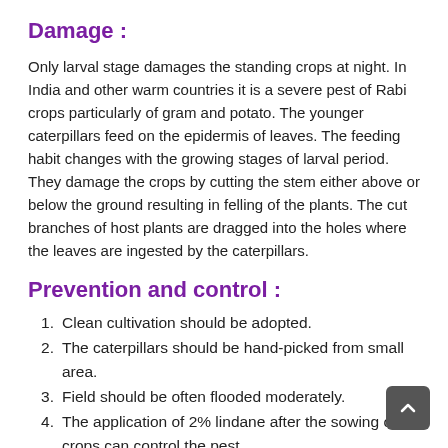Damage :
Only larval stage damages the standing crops at night. In India and other warm countries it is a severe pest of Rabi crops particularly of gram and potato. The younger caterpillars feed on the epidermis of leaves. The feeding habit changes with the growing stages of larval period. They damage the crops by cutting the stem either above or below the ground resulting in felling of the plants. The cut branches of host plants are dragged into the holes where the leaves are ingested by the caterpillars.
Prevention and control :
Clean cultivation should be adopted.
The caterpillars should be hand-picked from small area.
Field should be often flooded moderately.
The application of 2% lindane after the sowing of crops can control the pest.
Heptachlor, aldrin @ 2.25 kg active ingredient per